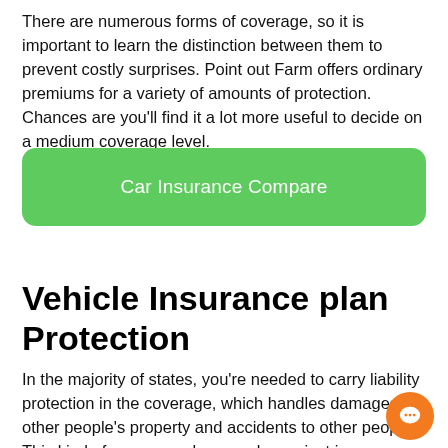There are numerous forms of coverage, so it is important to learn the distinction between them to prevent costly surprises. Point out Farm offers ordinary premiums for a variety of amounts of protection. Chances are you'll find it a lot more useful to decide on a medium coverage level.
[Figure (other): Green rounded button labeled 'Car Insurance Compare']
Vehicle Insurance plan Protection
In the majority of states, you're needed to carry liability protection in the coverage, which handles damages to other people's property and accidents to other people. This kind of coverage also guards you just in case you induce an accident with One more driver. This protection could be the